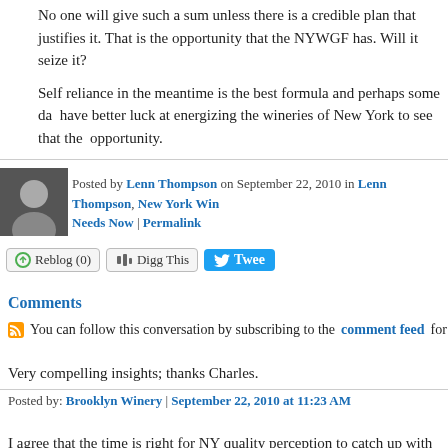No one will give such a sum unless there is a credible plan that justifies it. That is the opportunity that the NYWGF has. Will it seize it?
Self reliance in the meantime is the best formula and perhaps some day we will have better luck at energizing the wineries of New York to see that they have the opportunity.
Posted by Lenn Thompson on September 22, 2010 in Lenn Thompson, New York Win... Needs Now | Permalink
[Figure (other): Social sharing buttons: Reblog (0), Digg This, Tweet]
Comments
You can follow this conversation by subscribing to the comment feed for...
Very compelling insights; thanks Charles.
Posted by: Brooklyn Winery | September 22, 2010 at 11:23 AM
I agree that the time is right for NY quality perception to catch up with reality... thoughts on a quality system similar to Ontario's VQA? They implemented th...